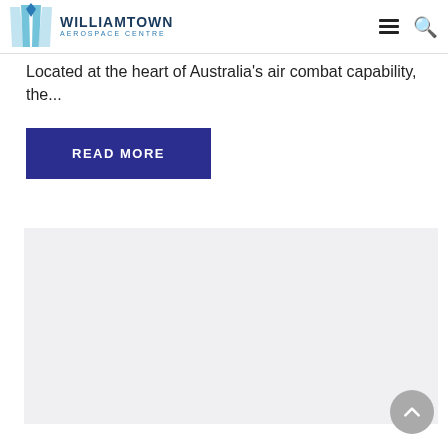Williamtown Aerospace Centre
Located at the heart of Australia's air combat capability, the...
READ MORE
[Figure (photo): Gray image placeholder area below the read more button]
Back to top button (chevron up arrow)